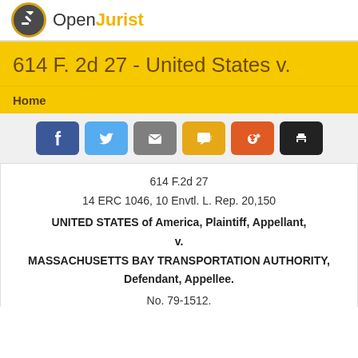[Figure (logo): OpenJurist logo with gavel icon in circular badge and wordmark 'OpenJurist' in grey and gold]
614 F. 2d 27 - United States v.
Home
[Figure (other): Social share buttons row: Facebook (blue), Twitter (light blue), Email (grey), SMS (gold/yellow), Reddit (orange-red), Print (black)]
614 F.2d 27
14 ERC 1046, 10 Envtl. L. Rep. 20,150
UNITED STATES of America, Plaintiff, Appellant, v. MASSACHUSETTS BAY TRANSPORTATION AUTHORITY, Defendant, Appellee.
No. 79-1512.